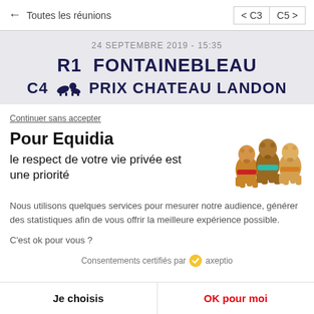← Toutes les réunions   < C3  C5 >
24 SEPTEMBRE 2019 - 15:35
R1 FONTAINEBLEAU
C4 PRIX CHATEAU LANDON
Continuer sans accepter
Pour Equidia
le respect de votre vie privée est une priorité
[Figure (photo): Three cute horse-shaped cookie/candy figurines with colorful collars]
Nous utilisons quelques services pour mesurer notre audience, générer des statistiques afin de vous offrir la meilleure expérience possible.
C'est ok pour vous ?
Consentements certifiés par axeptio
Je choisis
OK pour moi